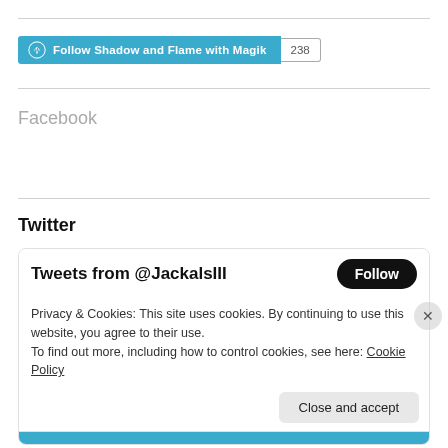[Figure (other): WordPress Follow button for 'Shadow and Flame with Magik' with follower count 238]
Facebook
Twitter
[Figure (screenshot): Twitter widget showing 'Tweets from @JackalsIII' with Follow button, and a cookie notice overlay reading: Privacy & Cookies: This site uses cookies. By continuing to use this website, you agree to their use. To find out more, including how to control cookies, see here: Cookie Policy. With a 'Close and accept' button.]